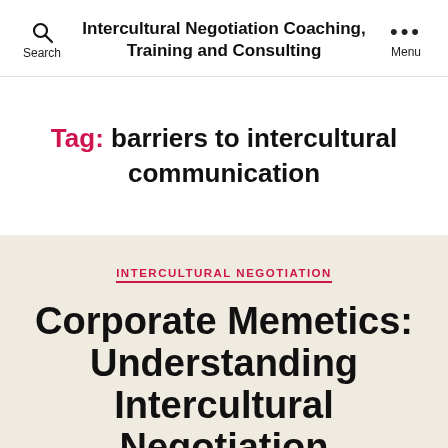Intercultural Negotiation Coaching, Training and Consulting
Tag: barriers to intercultural communication
INTERCULTURAL NEGOTIATION
Corporate Memetics: Understanding Intercultural Negotiation